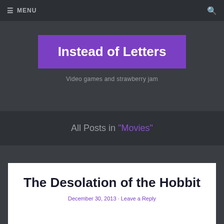≡ MENU 🔍
Instead of Letters
Video games and strawberry jam
All Posts in "Movies"
The Desolation of the Hobbit
December 30, 2013 · Leave a Reply